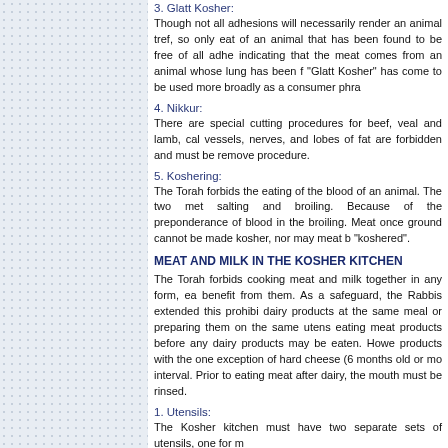3. Glatt Kosher:
Though not all adhesions will necessarily render an animal tref, so only eat of an animal that has been found to be free of all adhe indicating that the meat comes from an animal whose lung has been f "Glatt Kosher" has come to be used more broadly as a consumer phra
4. Nikkur:
There are special cutting procedures for beef, veal and lamb, cal vessels, nerves, and lobes of fat are forbidden and must be remove procedure.
5. Koshering:
The Torah forbids the eating of the blood of an animal. The two met salting and broiling. Because of the preponderance of blood in the broiling. Meat once ground cannot be made kosher, nor may meat b "koshered".
MEAT AND MILK IN THE KOSHER KITCHEN
The Torah forbids cooking meat and milk together in any form, ea benefit from them. As a safeguard, the Rabbis extended this prohibi dairy products at the same meal or preparing them on the same utens eating meat products before any dairy products may be eaten. Howe products with the one exception of hard cheese (6 months old or mo interval. Prior to eating meat after dairy, the mouth must be rinsed.
1. Utensils:
The Kosher kitchen must have two separate sets of utensils, one for m